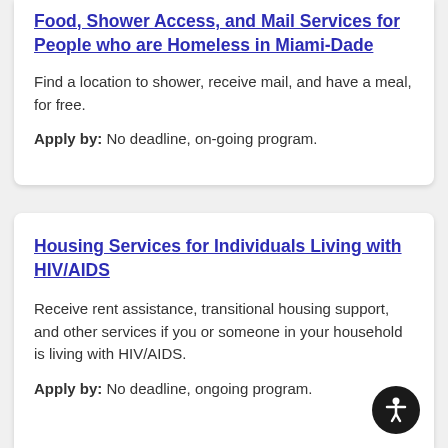Food, Shower Access, and Mail Services for People who are Homeless in Miami-Dade
Find a location to shower, receive mail, and have a meal, for free.
Apply by: No deadline, on-going program.
Housing Services for Individuals Living with HIV/AIDS
Receive rent assistance, transitional housing support, and other services if you or someone in your household is living with HIV/AIDS.
Apply by: No deadline, ongoing program.